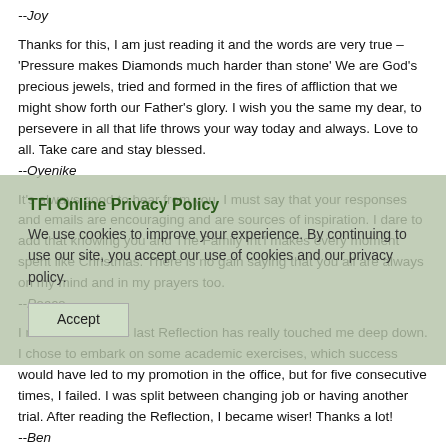--Joy
Thanks for this, I am just reading it and the words are very true – 'Pressure makes Diamonds much harder than stone' We are God's precious jewels, tried and formed in the fires of affliction that we might show forth our Father's glory. I wish you the same my dear, to persevere in all that life throws your way today and always. Love to all. Take care and stay blessed.
--Oyenike
It's always good to hear from you. I must say that your responses and emails are encouraging and are sources of inspiration. I dare to add that knowing you and The Family Int'l makes every moment spent like Christmas. There is no gain saying that you all are always on my mind and in my prayers too.
--Peace
I must confess this last Reflection has really touched me deep down. I chose to embark on some academic exercises, which success would have led to my promotion in the office, but for five consecutive times, I failed. I was split between changing job or having another trial. After reading the Reflection, I became wiser! Thanks a lot!
--Ben
My dearest friends, you don't know how much these inspiring messages fill